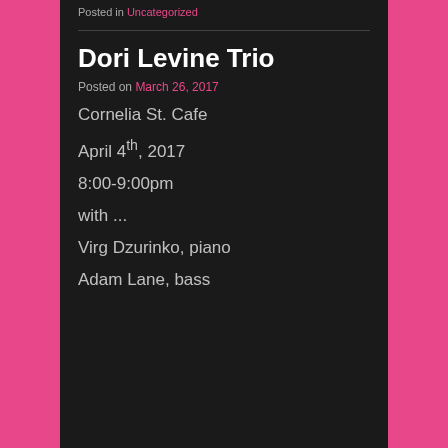Posted in Uncategorized
Dori Levine Trio
Posted on March 26, 2017
Cornelia St. Cafe
April 4th, 2017
8:00-9:00pm
with ...
Virg Dzurinko, piano
Adam Lane, bass